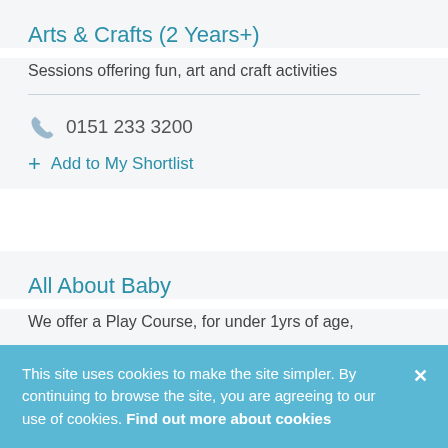Arts & Crafts (2 Years+)
Sessions offering fun, art and craft activities
0151 233 3200
Add to My Shortlist
All About Baby
We offer a Play Course, for under 1yrs of age,
This site uses cookies to make the site simpler. By continuing to browse the site, you are agreeing to our use of cookies. Find out more about cookies